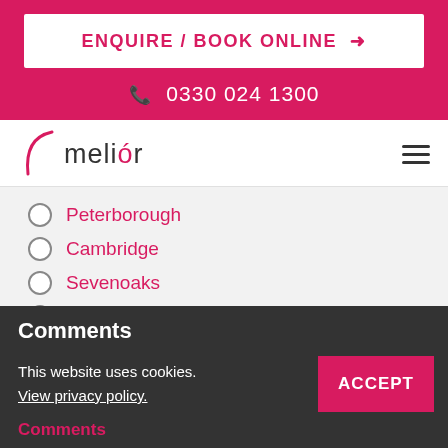[Figure (screenshot): Pink banner with white 'ENQUIRE / BOOK ONLINE →' button and phone number 0330 024 1300]
[Figure (logo): Melior logo with pink curved accent and hamburger menu icon]
Peterborough
Cambridge
Sevenoaks
Reading
Comments
This website uses cookies. View privacy policy.
ACCEPT
Comments